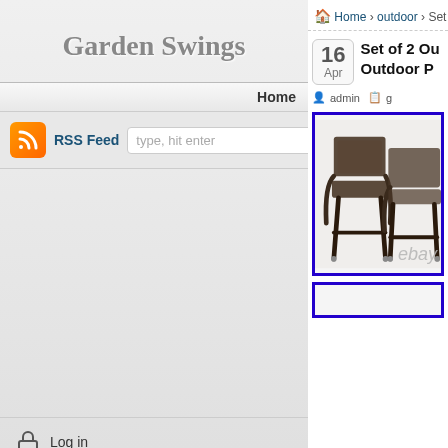Garden Swings
Home
RSS Feed  type, hit enter
Log in
© Copyright 2022 Garden Swings
Theme by zwwooooo & schiy
| Powered by WordPress
Home › outdoor › Set of
16
Apr
Set of 2 Ou
Outdoor P
admin  g
[Figure (photo): Product photo of two outdoor wicker bar stools with dark metal frames, shown with eBay watermark]
[Figure (photo): Partial view of a second product image below]